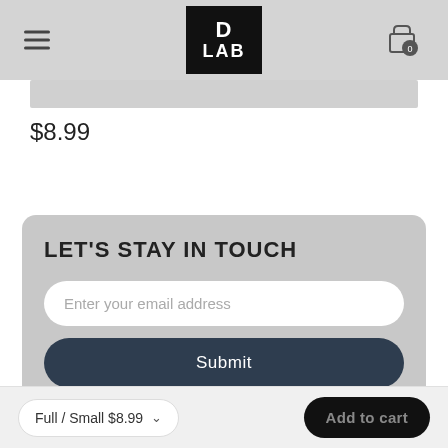D LAB
[Figure (screenshot): Partial product image strip in grey]
$8.99
LET'S STAY IN TOUCH
Enter your email address
Submit
Full / Small $8.99  Add to cart